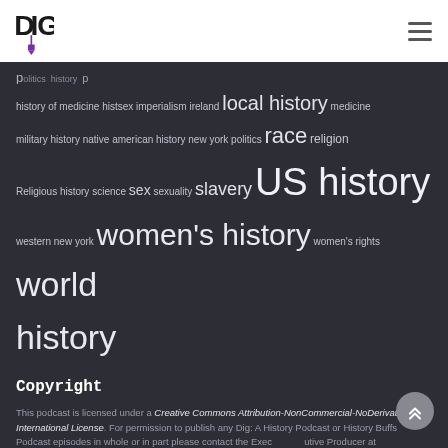[Figure (logo): DIG podcast logo with shovel icon in black and purple]
history of medicine histsex imperialism ireland local history medicine military history native american history new york politics race religion Religious history science sex sexuality slavery US history western new york women's history women's rights world history
Copyright
This podcast is licensed under a Creative Commons Attribution-NonCommercial-NoDerivatives 4.0 International License. For permission to publish any Dig: A History Podcast or History Buffs Podcast episodes in whole or in part please contact the Executive Producer at hello@digpodcast.org